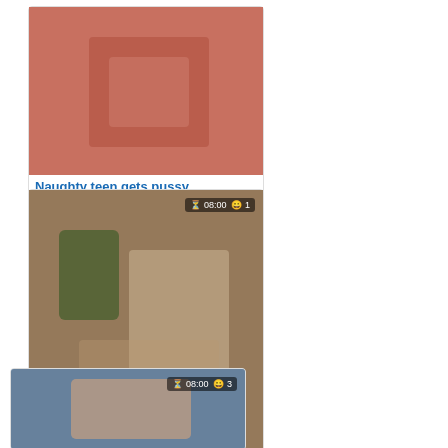[Figure (photo): Video thumbnail showing adult content - first card, no badge visible]
Naughty teen gets pussy
[Figure (photo): Video thumbnail showing adult content - second card with badge 08:00 and view count 1]
Hot Ava Addams and Kimmy
[Figure (photo): Video thumbnail showing adult content - third card with badge 08:00 and view count 3]